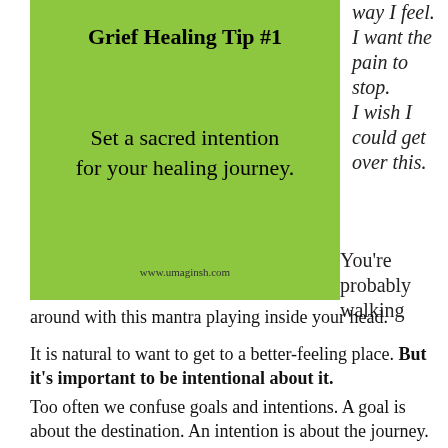[Figure (infographic): Green box with bold title 'Grief Healing Tip #1', subtitle text 'Set a sacred intention for your healing journey.', and URL 'www.umaginsh.com']
way I feel. I want the pain to stop. I wish I could get over this.
You're probably walking around with this mantra playing inside your head.
It is natural to want to get to a better-feeling place. But it's important to be intentional about it.
Too often we confuse goals and intentions. A goal is about the destination. An intention is about the journey. See the difference? It's huge.